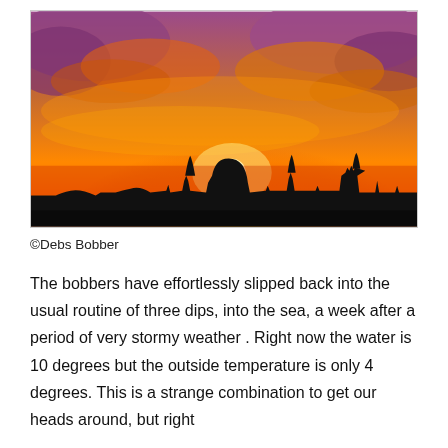[Figure (photo): A dramatic sunset photograph showing vivid orange, yellow, and purple sky with clouds, sun near the horizon, and silhouetted trees, buildings, and rooftops in the foreground.]
©Debs Bobber
The bobbers have effortlessly slipped back into the usual routine of three dips, into the sea, a week after a period of very stormy weather . Right now the water is 10 degrees but the outside temperature is only 4 degrees. This is a strange combination to get our heads around, but right